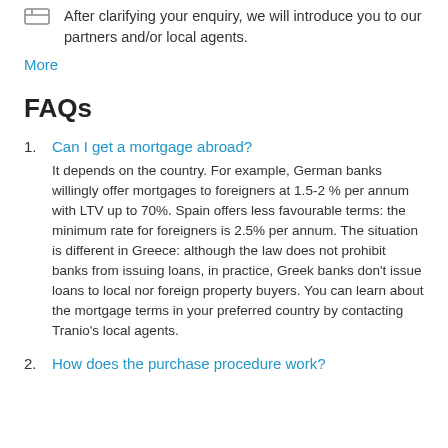After clarifying your enquiry, we will introduce you to our partners and/or local agents.
More
FAQs
1. Can I get a mortgage abroad?
It depends on the country. For example, German banks willingly offer mortgages to foreigners at 1.5-2 % per annum with LTV up to 70%. Spain offers less favourable terms: the minimum rate for foreigners is 2.5% per annum. The situation is different in Greece: although the law does not prohibit banks from issuing loans, in practice, Greek banks don't issue loans to local nor foreign property buyers. You can learn about the mortgage terms in your preferred country by contacting Tranio's local agents.
2. How does the purchase procedure work?